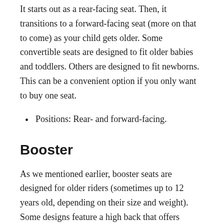It starts out as a rear-facing seat. Then, it transitions to a forward-facing seat (more on that to come) as your child gets older. Some convertible seats are designed to fit older babies and toddlers. Others are designed to fit newborns. This can be a convenient option if you only want to buy one seat.
Positions: Rear- and forward-facing.
Booster
As we mentioned earlier, booster seats are designed for older riders (sometimes up to 12 years old, depending on their size and weight). Some designs feature a high back that offers additional